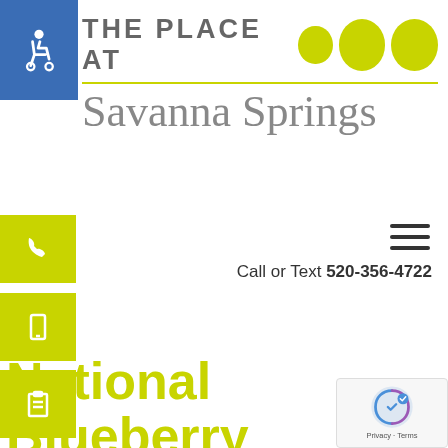[Figure (logo): The Place At Savanna Springs logo with yellow-green dots and accessibility icon]
[Figure (infographic): Yellow-green sidebar icons: phone, mobile phone, clipboard]
[Figure (infographic): Hamburger menu icon (three horizontal lines)]
Call or Text 520-356-4722
National Blueberry Cheesecake Day is Coming!
[Figure (logo): Google reCAPTCHA badge with Privacy and Terms links]